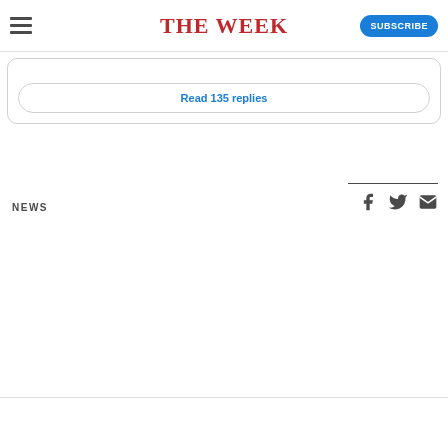THE WEEK | SUBSCRIBE
Read 135 replies
NEWS